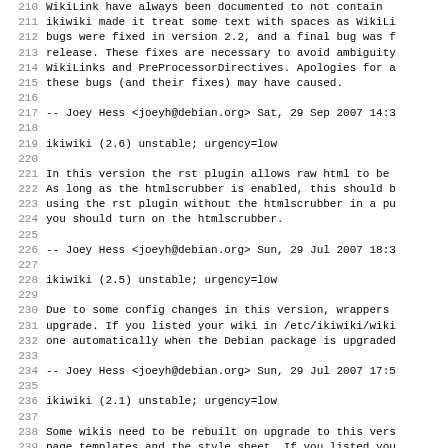Lines 210-242 of a Debian changelog file for ikiwiki package, showing versions 2.6, 2.5, and 2.1 with maintainer entries by Joey Hess.